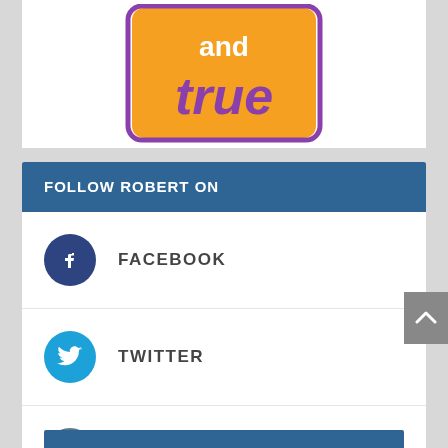[Figure (logo): Orange and purple 'fun and true' logo on orange background with purple border]
FOLLOW ROBERT ON
FACEBOOK
TWITTER
INSTAGRAM